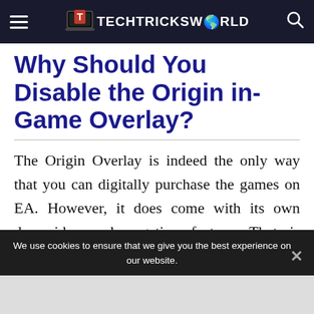TECHTRICKSWORLD
Why Should You Disable the Origin in-Game Overlay?
The Origin Overlay is indeed the only way that you can digitally purchase the games on EA. However, it does come with its own downsides and negative factors. That is perhaps why
We use cookies to ensure that we give you the best experience on our website.